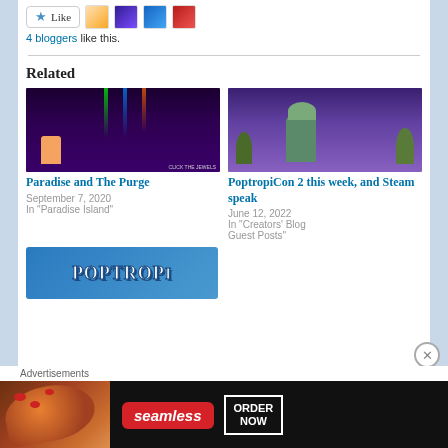[Figure (screenshot): Like button with star icon and 4 blogger avatars]
4 bloggers like this.
Related
[Figure (screenshot): Related post image: Paradise and The Purge - game screenshot with character playing guitar]
Paradise and The Purge
September 7, 2020
In "Paradise Island"
[Figure (screenshot): Related post image: PoptropiCon 2 this week, and Steam speak - zombie character screenshot]
PoptropiCon 2 this week, and Steam speak
June 12, 2022
In "Creators' Blog Guest Posts"
[Figure (logo): Poptropica logo - blue background with white bubble text]
Advertisements
[Figure (screenshot): Seamless food delivery advertisement banner with pizza image, seamless logo, and ORDER NOW button]